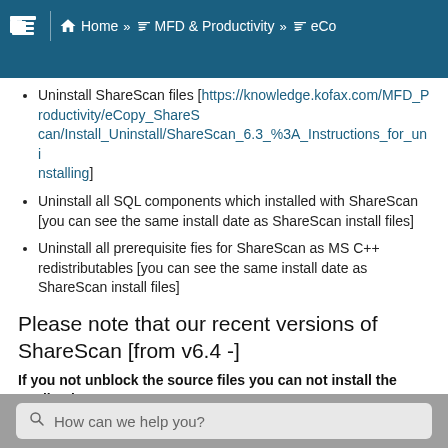Home » MFD & Productivity » eCo
[truncated breadcrumb text]
Uninstall ShareScan files [https://knowledge.kofax.com/MFD_Productivity/eCopy_ShareScan/Install_Uninstall/ShareScan_6.3_%3A_Instructions_for_uninstalling]
Uninstall all SQL components which installed with ShareScan [you can see the same install date as ShareScan install files]
Uninstall all prerequisite fies for ShareScan as MS C++ redistributables [you can see the same install date as ShareScan install files]
Please note that our recent versions of ShareScan [from v6.4 -]
If you not unblock the source files you can not install the application!
The downloaded ZIP file MUST be unblock not the extracted